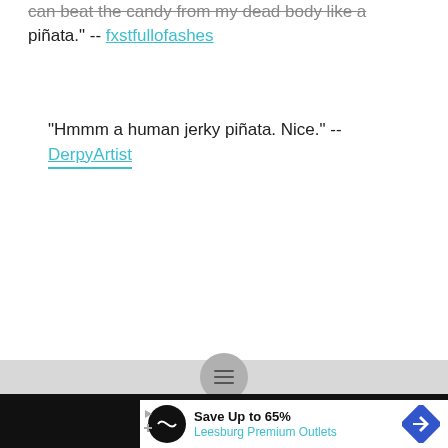can beat the candy from my dead body like a piñata." -- fxstfullofashes
"Hmmm a human jerky piñata. Nice." -- DerpyArtist
[Figure (screenshot): Gray navigation bar with hamburger menu button, followed by black background advertising strip with white ad box containing Leesburg Premium Outlets advertisement]